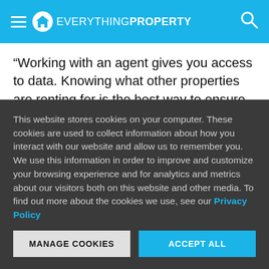Everything Property
“Working with an agent gives you access to data. Knowing what other properties are renting for is the best way to ensure that you remain competitive and can secure a tenant. Over or under pricing could spell disaster over this period. The same goes for purchasing property.”
This website stores cookies on your computer. These cookies are used to collect information about how you interact with our website and allow us to remember you. We use this information in order to improve and customize your browsing experience and for analytics and metrics about our visitors both on this website and other media. To find out more about the cookies we use, see our Privacy Policy
MANAGE COOKIES | ACCEPT ALL